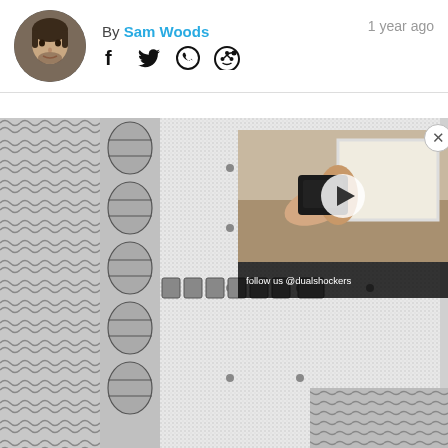By Sam Woods  1 year ago
[Figure (screenshot): Website article header with author avatar (circular photo of a young man), byline 'By Sam Woods' in cyan/blue, social share icons (Facebook, Twitter, WhatsApp, Reddit), and '1 year ago' timestamp on the right]
[Figure (screenshot): Pokemon Game Boy game screenshot showing overworld tilemap with grass, barrels, and a character sprite, in grayscale pixel art style]
[Figure (screenshot): Embedded video overlay showing hands holding a small electronic device near a white frame/picture, with a play button, and 'follow us @dualshockers' text at bottom]